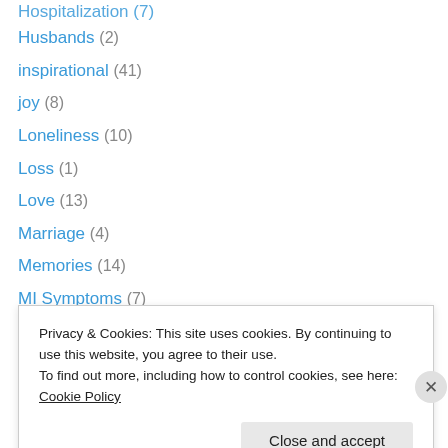Hospitalization (7)
Husbands (2)
inspirational (41)
joy (8)
Loneliness (10)
Loss (1)
Love (13)
Marriage (4)
Memories (14)
MI Symptoms (7)
new reports (1)
new visitor introduction (1)
news (2)
News Reports (20)
Privacy & Cookies: This site uses cookies. By continuing to use this website, you agree to their use. To find out more, including how to control cookies, see here: Cookie Policy